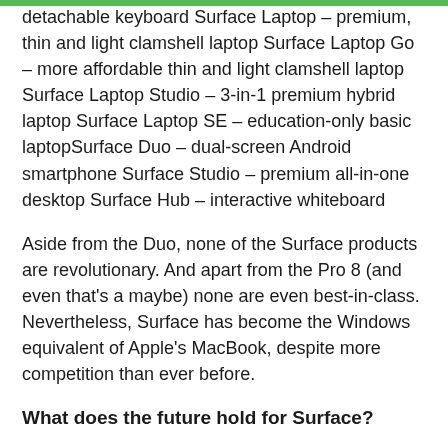detachable keyboard Surface Laptop – premium, thin and light clamshell laptop Surface Laptop Go – more affordable thin and light clamshell laptop Surface Laptop Studio – 3-in-1 premium hybrid laptop Surface Laptop SE – education-only basic laptopSurface Duo – dual-screen Android smartphone Surface Studio – premium all-in-one desktop Surface Hub – interactive whiteboard
Aside from the Duo, none of the Surface products are revolutionary. And apart from the Pro 8 (and even that's a maybe) none are even best-in-class. Nevertheless, Surface has become the Windows equivalent of Apple's MacBook, despite more competition than ever before.
What does the future hold for Surface?
So much has changed since the original Surface made